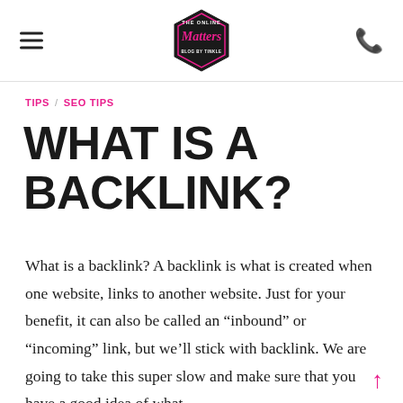The Online Matters — navigation header with logo, hamburger menu, and phone icon
TIPS / SEO TIPS
WHAT IS A BACKLINK?
What is a backlink? A backlink is what is created when one website, links to another website. Just for your benefit, it can also be called an “inbound” or “incoming” link, but we’ll stick with backlink. We are going to take this super slow and make sure that you have a good idea of what…